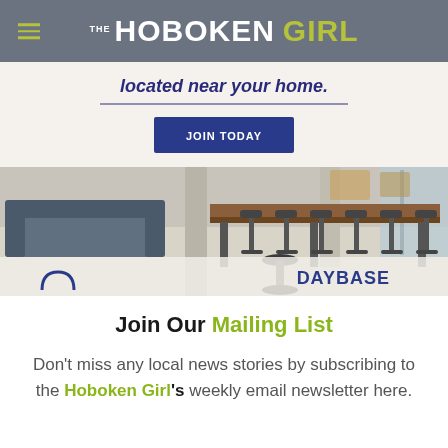THE HOBOKEN GIRL
[Figure (photo): Advertisement for Daybase coworking space. Shows a modern open coworking lounge with a long wooden bar table, industrial stools, and blue sofas. Text reads 'located near your home.' with a navy 'JOIN TODAY' button. Daybase logo with arch icon in bottom corners.]
Join Our Mailing List
Don't miss any local news stories by subscribing to the Hoboken Girl's weekly email newsletter here.